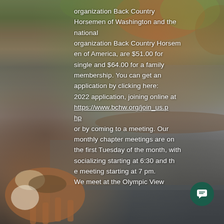[Figure (photo): Outdoor nature scene showing a horse (brown and white pinto/paint horse) wading in or near a river/stream, with rocky shoreline, fallen logs, and autumn foliage in the background. The scene appears to be in a Pacific Northwest forested area.]
organization Back Country Horsemen of Washington and the national organization Back Country Horsemen of America, are $51.00 for single and $64.00 for a family membership. You can get an application by clicking here: 2022 application, joining online at https://www.bchw.org/join_us.php or by coming to a meeting. Our monthly chapter meetings are on the first Tuesday of the month, with socializing starting at 6:30 and the meeting starting at 7 pm. We meet at the Olympic View